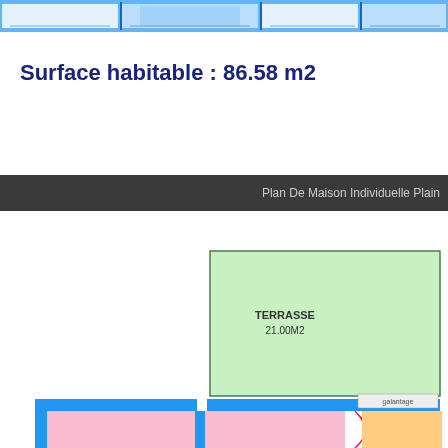[Figure (engineering-diagram): Top portion of a house floor plan showing colored room strips with blue walls]
Surface habitable : 86.58 m2
Plan De Maison Individuelle Plain
[Figure (engineering-diagram): Bottom portion of a house floor plan showing a green terrace (21.00M2), pink rooms, orange room, blue exterior walls, and entry area]